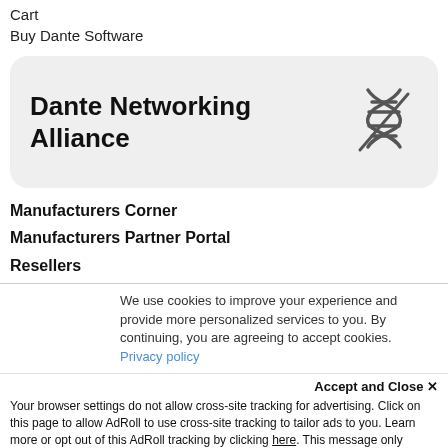Cart
Buy Dante Software
[Figure (logo): Dante Networking Alliance logo card with DNA helix icon on a light grey rounded rectangle background]
Manufacturers Corner
Manufacturers Partner Portal
Resellers
We use cookies to improve your experience and provide more personalized services to you. By continuing, you are agreeing to accept cookies. Privacy policy
Accept and Close ✕
Your browser settings do not allow cross-site tracking for advertising. Click on this page to allow AdRoll to use cross-site tracking to tailor ads to you. Learn more or opt out of this AdRoll tracking by clicking here. This message only appears once.